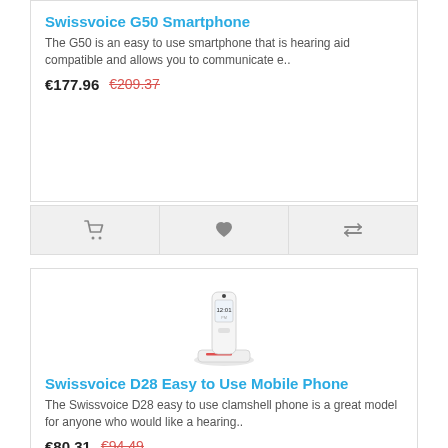Swissvoice G50 Smartphone
The G50 is an easy to use smartphone that is hearing aid compatible and allows you to communicate e..
€177.96  €209.37
[Figure (infographic): Action bar with cart, heart, and compare icons]
[Figure (photo): Swissvoice D28 mobile phone on charging cradle, white clamshell phone showing 12:01 on display]
Swissvoice D28 Easy to Use Mobile Phone
The Swissvoice D28 easy to use clamshell phone is a great model for anyone who would like a hearing..
€80.31  €94.49